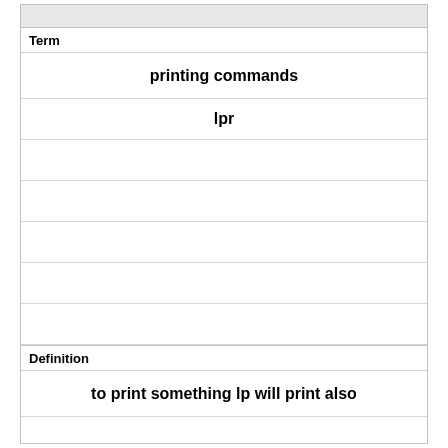| Term | Definition |
| --- | --- |
| printing commands |  |
| lpr |  |
|  |  |
|  |  |
|  |  |
|  |  |
| to print something lp will print also |  |
|  |  |
|  |  |
|  |  |
|  |  |